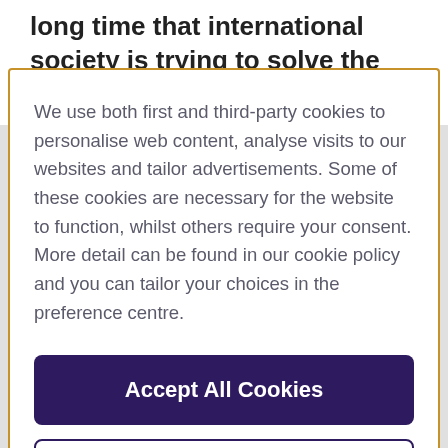long time that international society is trying to solve the problem, but they
We use both first and third-party cookies to personalise web content, analyse visits to our websites and tailor advertisements. Some of these cookies are necessary for the website to function, whilst others require your consent. More detail can be found in our cookie policy and you can tailor your choices in the preference centre.
Accept All Cookies
Cookies Settings